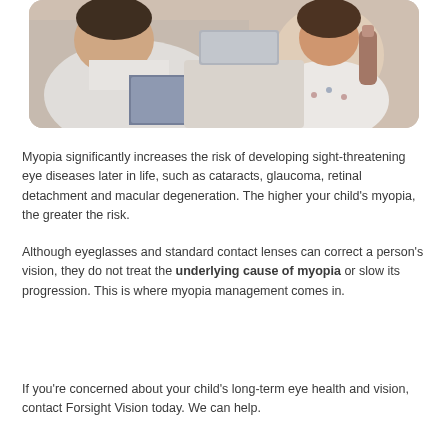[Figure (photo): A doctor or optometrist in a white coat leaning forward to examine a young child, who is seated. Medical/clinical setting visible in background.]
Myopia significantly increases the risk of developing sight-threatening eye diseases later in life, such as cataracts, glaucoma, retinal detachment and macular degeneration. The higher your child's myopia, the greater the risk.
Although eyeglasses and standard contact lenses can correct a person's vision, they do not treat the underlying cause of myopia or slow its progression. This is where myopia management comes in.
If you're concerned about your child's long-term eye health and vision, contact Forsight Vision today. We can help.